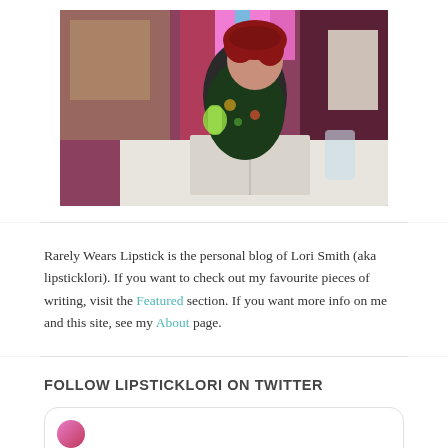[Figure (photo): Woman with red hair holding a green drink, sitting at a table with an open book, colorful striped background]
Rarely Wears Lipstick is the personal blog of Lori Smith (aka lipsticklori). If you want to check out my favourite pieces of writing, visit the Featured section. If you want more info on me and this site, see my About page.
FOLLOW LIPSTICKLORI ON TWITTER